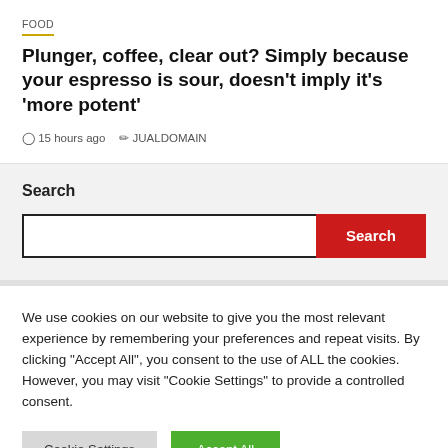FOOD
Plunger, coffee, clear out? Simply because your espresso is sour, doesn't imply it's 'more potent'
15 hours ago   JUALDOMAIN
Search
We use cookies on our website to give you the most relevant experience by remembering your preferences and repeat visits. By clicking "Accept All", you consent to the use of ALL the cookies. However, you may visit "Cookie Settings" to provide a controlled consent.
Cookie Settings   Accept All